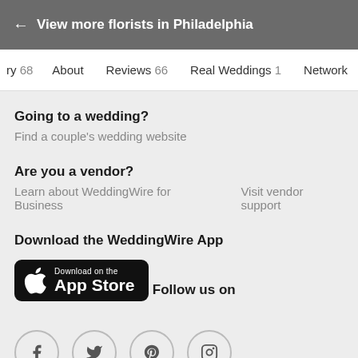← View more florists in Philadelphia
ry 68   About   Reviews 66   Real Weddings 1   Network
Going to a wedding?
Find a couple's wedding website
Are you a vendor?
Learn about WeddingWire for Business   Visit vendor support
Download the WeddingWire App
[Figure (screenshot): App Store download badge (black rounded rectangle) with Apple logo and text 'Download on the App Store']
Follow us on
[Figure (infographic): Four circular social media icons: Facebook, Twitter, Pinterest, Instagram]